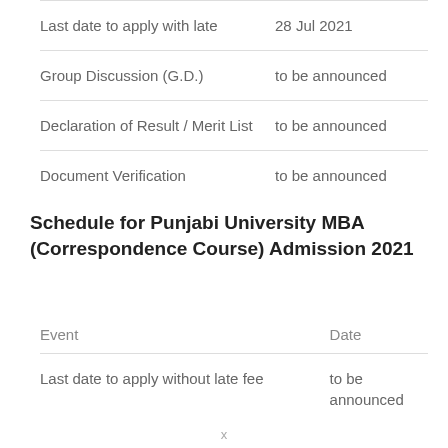| Event | Date |
| --- | --- |
| Last date to apply with late | 28 Jul 2021 |
| Group Discussion (G.D.) | to be announced |
| Declaration of Result / Merit List | to be announced |
| Document Verification | to be announced |
Schedule for Punjabi University MBA (Correspondence Course) Admission 2021
| Event | Date |
| --- | --- |
| Last date to apply without late fee | to be announced |
x